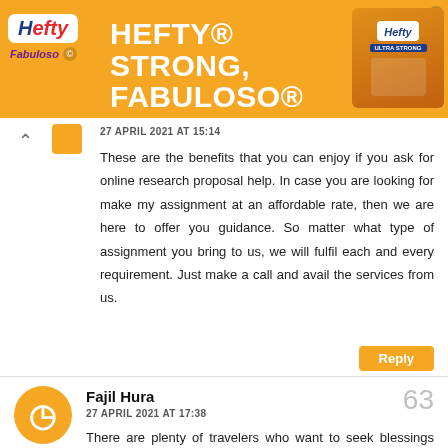[Figure (screenshot): Hefty advertisement banner with orange background, Hefty and Fabuloso logos, and text HEFTY STRONG, FABULOSO FRESH]
27 APRIL 2021 AT 15:14
These are the benefits that you can enjoy if you ask for online research proposal help. In case you are looking for make my assignment at an affordable rate, then we are here to offer you guidance. So matter what type of assignment you bring to us, we will fulfil each and every requirement. Just make a call and avail the services from us.
Reply
Fajil Hura
63
27 APRIL 2021 AT 17:38
There are plenty of travelers who want to seek blessings from Lord Rama and hence plan to visit